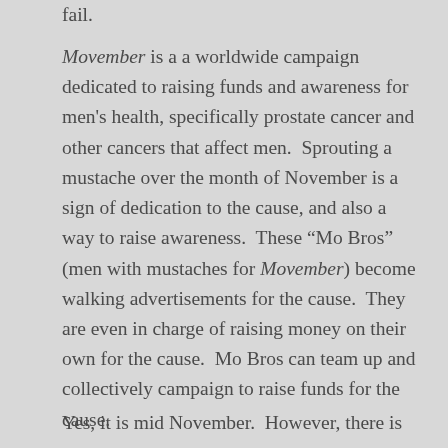fail.
Movember is a a worldwide campaign dedicated to raising funds and awareness for men's health, specifically prostate cancer and other cancers that affect men. Sprouting a mustache over the month of November is a sign of dedication to the cause, and also a way to raise awareness. These “Mo Bros” (men with mustaches for Movember) become walking advertisements for the cause. They are even in charge of raising money on their own for the cause. Mo Bros can team up and collectively campaign to raise funds for the cause.
Yes, it is mid November. However, there is